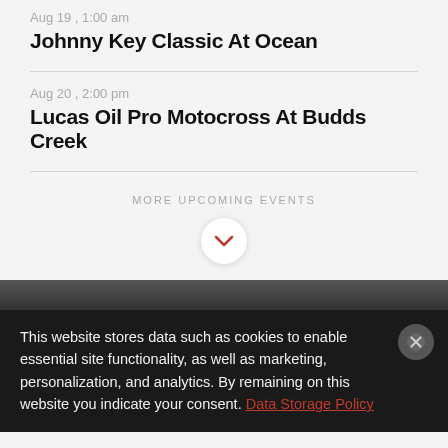Aug 19 , 1:00 am
Johnny Key Classic At Ocean
Aug 20 , 2:00 pm
Lucas Oil Pro Motocross At Budds Creek
MORE UPCOMING EVENTS
[Figure (other): Downward chevron button in white circle]
[Figure (photo): Dark photo strip at bottom of page]
This website stores data such as cookies to enable essential site functionality, as well as marketing, personalization, and analytics. By remaining on this website you indicate your consent. Data Storage Policy